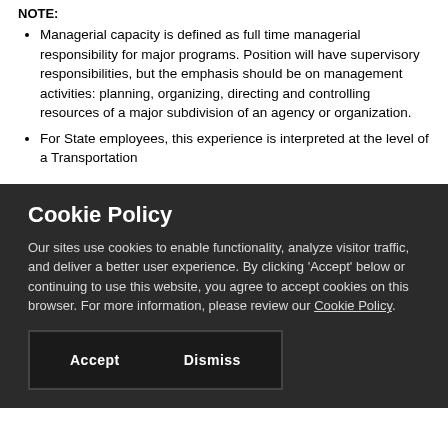NOTE:
Managerial capacity is defined as full time managerial responsibility for major programs. Position will have supervisory responsibilities, but the emphasis should be on management activities: planning, organizing, directing and controlling resources of a major subdivision of an agency or organization.
For State employees, this experience is interpreted at the level of a Transportation
Cookie Policy
Our sites use cookies to enable functionality, analyze visitor traffic, and deliver a better user experience. By clicking 'Accept' below or continuing to use this website, you agree to accept cookies on this browser. For more information, please review our Cookie Policy.
Accept    Dismiss